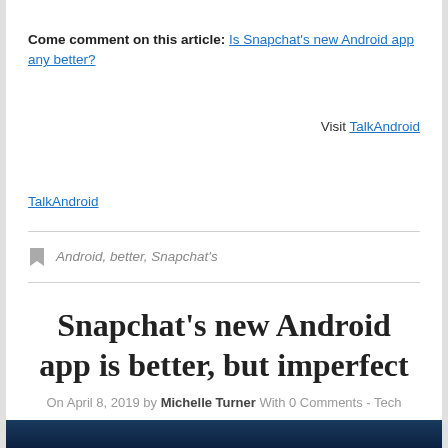Come comment on this article: Is Snapchat's new Android app any better?
Visit TalkAndroid
TalkAndroid
Android, better, Snapchat's
Snapchat's new Android app is better, but imperfect
On April 8, 2019 by Michelle Turner With 0 Comments - Tech
[Figure (photo): Dark blue image at the bottom of the page]